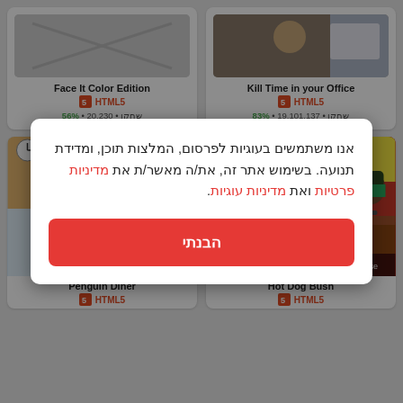Face It Color Edition
HTML5
שחקו · 20,230 · 56%
Kill Time in your Office
HTML5
שחקו · 19,101,137 · 83%
[Figure (screenshot): Penguin Diner game screenshot showing penguins in a restaurant]
Penguin Diner
HTML5
[Figure (screenshot): Hot Dog Bush game screenshot showing characters at a hot dog stand, Goal: $150, $42]
Hot Dog Bush
HTML5
אנו משתמשים בעוגיות לפרסום, המלצות תוכן, ומדידת תנועה. בשימוש אתר זה, את/ה מאשר/ת את מדיניות פרטיות ואת מדיניות עוגיות.
הבנתי